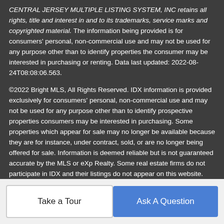CENTRAL JERSEY MULTIPLE LISTING SYSTEM, INC retains all rights, title and interest in and to its trademarks, service marks and copyrighted material. The information being provided is for consumers' personal, non-commercial use and may not be used for any purpose other than to identify properties the consumer may be interested in purchasing or renting. Data last updated: 2022-08-24T08:08:06.563.
©2022 Bright MLS, All Rights Reserved. IDX information is provided exclusively for consumers' personal, non-commercial use and may not be used for any purpose other than to identify prospective properties consumers may be interested in purchasing. Some properties which appear for sale may no longer be available because they are for instance, under contract, sold, or are no longer being offered for sale. Information is deemed reliable but is not guaranteed accurate by the MLS or eXp Realty. Some real estate firms do not participate in IDX and their listings do not appear on this website. Some properties listed with participating firms do not appear on this website at the request of the seller.
Take a Tour
Ask A Question